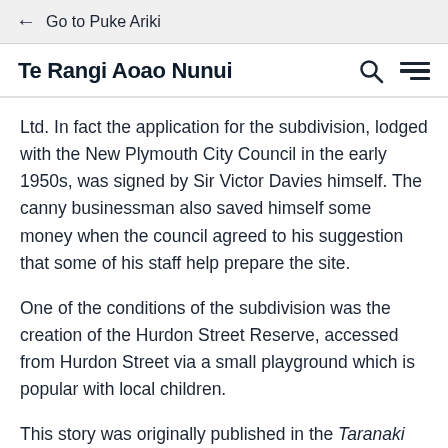← Go to Puke Ariki
Te Rangi Aoao Nunui
Ltd. In fact the application for the subdivision, lodged with the New Plymouth City Council in the early 1950s, was signed by Sir Victor Davies himself. The canny businessman also saved himself some money when the council agreed to his suggestion that some of his staff help prepare the site.
One of the conditions of the subdivision was the creation of the Hurdon Street Reserve, accessed from Hurdon Street via a small playground which is popular with local children.
This story was originally published in the Taranaki